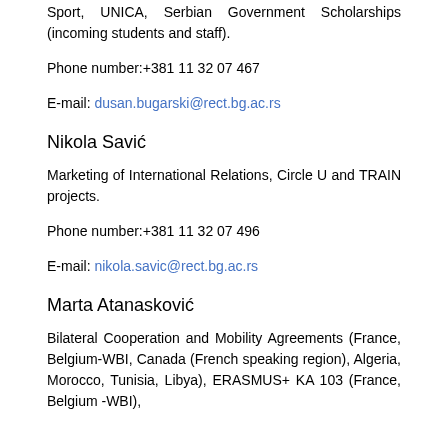Sport, UNICA, Serbian Government Scholarships (incoming students and staff).
Phone number:+381 11 32 07 467
E-mail: dusan.bugarski@rect.bg.ac.rs
Nikola Savić
Marketing of International Relations, Circle U and TRAIN projects.
Phone number:+381 11 32 07 496
E-mail: nikola.savic@rect.bg.ac.rs
Marta Atanasković
Bilateral Cooperation and Mobility Agreements (France, Belgium-WBI, Canada (French speaking region), Algeria, Morocco, Tunisia, Libya), ERASMUS+ KA 103 (France, Belgium -WBI),